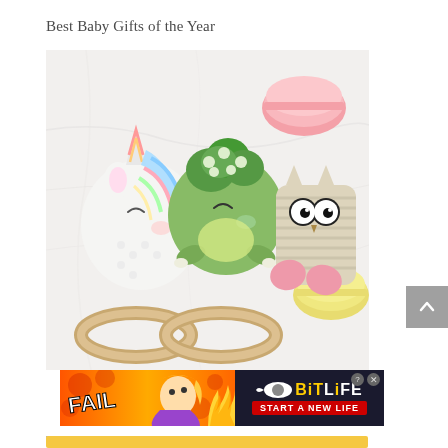Best Baby Gifts of the Year
[Figure (photo): Three crochet/amigurumi baby rattle toys with wooden teething rings: a unicorn (white with rainbow mane), a dinosaur/broccoli character (green), and an owl (beige/pink), arranged on a white marble surface with colorful macarons]
[Figure (photo): Advertisement banner for BitLife mobile game featuring 'FAIL' text, animated character, flame graphic, and tagline 'START A NEW LIFE' on dark background with yellow BitLife logo]
Te...y
[Figure (other): Partial yellow bar at bottom of page]